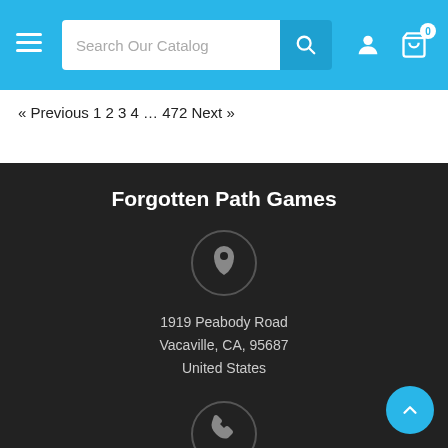[Figure (screenshot): Website header with hamburger menu, search bar reading 'Search Our Catalog', search button, user icon, and cart icon with badge '0']
« Previous 1 2 3 4 … 472 Next »
Forgotten Path Games
[Figure (illustration): Map pin / location icon inside a circle]
1919 Peabody Road
Vacaville, CA, 95687
United States
[Figure (illustration): Phone / telephone icon inside a circle]
7074749834